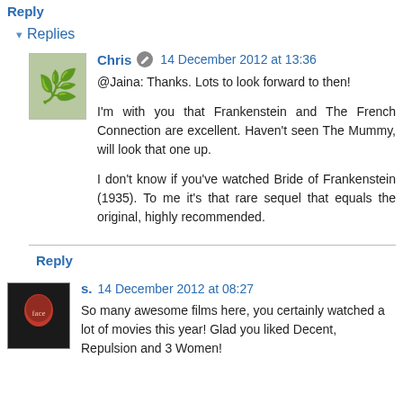Reply
▾ Replies
Chris  14 December 2012 at 13:36
@Jaina: Thanks. Lots to look forward to then!

I'm with you that Frankenstein and The French Connection are excellent. Haven't seen The Mummy, will look that one up.

I don't know if you've watched Bride of Frankenstein (1935). To me it's that rare sequel that equals the original, highly recommended.
Reply
s.  14 December 2012 at 08:27
So many awesome films here, you certainly watched a lot of movies this year! Glad you liked Decent, Repulsion and 3 Women!